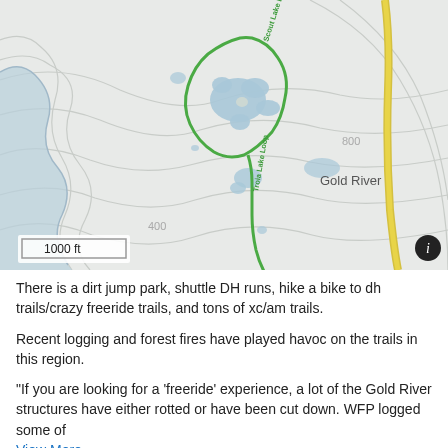[Figure (map): Topographic trail map showing Scout Lake Loop and Troia Lake Loop trails highlighted in green, with water bodies in blue, contour lines, Gold River label, scale bar of 1000 ft, and an info button.]
There is a dirt jump park, shuttle DH runs, hike a bike to dh trails/crazy freeride trails, and tons of xc/am trails.
Recent logging and forest fires have played havoc on the trails in this region.
"If you are looking for a 'freeride' experience, a lot of the Gold River structures have either rotted or have been cut down. WFP logged some of View More...
Activities Click to view